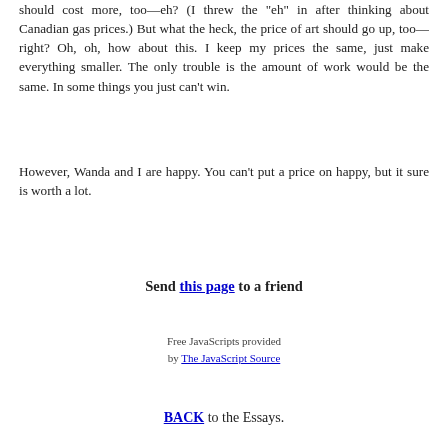should cost more, too—eh? (I threw the "eh" in after thinking about Canadian gas prices.) But what the heck, the price of art should go up, too—right? Oh, oh, how about this. I keep my prices the same, just make everything smaller. The only trouble is the amount of work would be the same. In some things you just can't win.
However, Wanda and I are happy. You can't put a price on happy, but it sure is worth a lot.
Send this page to a friend
Free JavaScripts provided by The JavaScript Source
BACK to the Essays.